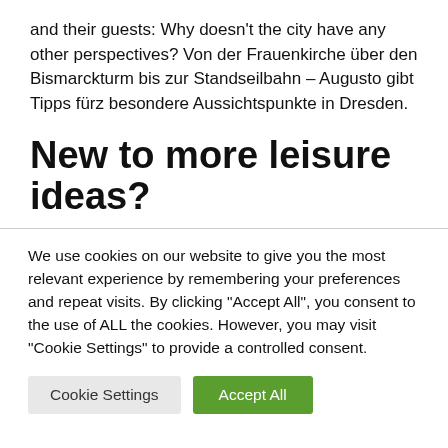and their guests: Why doesn't the city have any other perspectives? Von der Frauenkirche über den Bismarckturm bis zur Standseilbahn – Augusto gibt Tipps fürz besondere Aussichtspunkte in Dresden.
New to more leisure ideas?
We use cookies on our website to give you the most relevant experience by remembering your preferences and repeat visits. By clicking "Accept All", you consent to the use of ALL the cookies. However, you may visit "Cookie Settings" to provide a controlled consent.